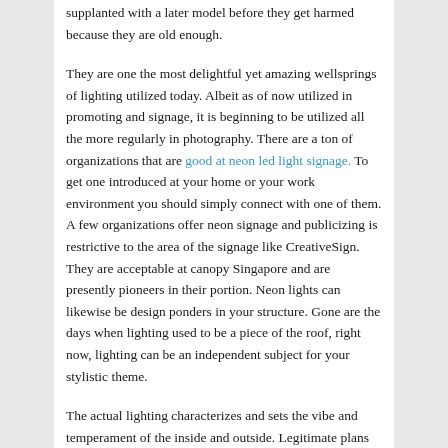supplanted with a later model before they get harmed because they are old enough.
They are one the most delightful yet amazing wellsprings of lighting utilized today. Albeit as of now utilized in promoting and signage, it is beginning to be utilized all the more regularly in photography. There are a ton of organizations that are good at neon led light signage. To get one introduced at your home or your work environment you should simply connect with one of them. A few organizations offer neon signage and publicizing is restrictive to the area of the signage like CreativeSign. They are acceptable at canopy Singapore and are presently pioneers in their portion. Neon lights can likewise be design ponders in your structure. Gone are the days when lighting used to be a piece of the roof, right now, lighting can be an independent subject for your stylistic theme.
The actual lighting characterizes and sets the vibe and temperament of the inside and outside. Legitimate plans and the establishment of lights are ensured to change the